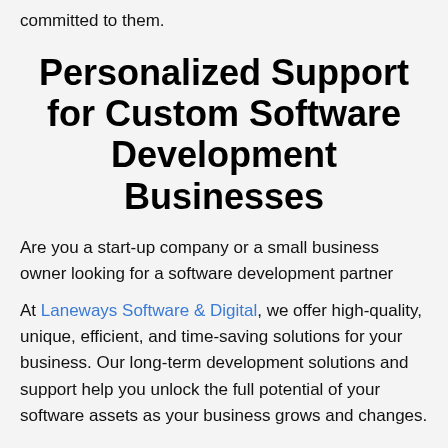committed to them.
Personalized Support for Custom Software Development Businesses
Are you a start-up company or a small business owner looking for a software development partner
At Laneways Software & Digital, we offer high-quality, unique, efficient, and time-saving solutions for your business. Our long-term development solutions and support help you unlock the full potential of your software assets as your business grows and changes.